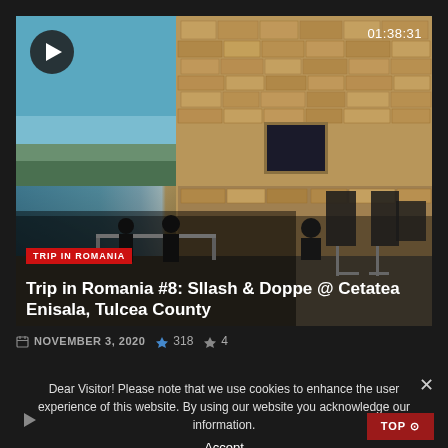[Figure (screenshot): Video thumbnail showing musicians/performers at stone ruins (Cetatea Enisala) with blue sky. Play button overlay in top-left, timer 01:38:31 in top-right, red TRIP IN ROMANIA badge, and video title overlaid at bottom.]
TRIP IN ROMANIA
Trip in Romania #8: Sllash & Doppe @ Cetatea Enisala, Tulcea County
NOVEMBER 3, 2020   318   4
Dear Visitor! Please note that we use cookies to enhance the user experience of this website. By using our website you acknowledge our information.
Accept